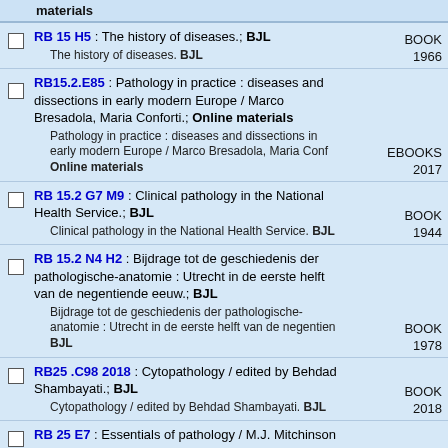materials (header row)
RB 15 H5 : The history of diseases.; BJL
The history of diseases. BJL
BOOK 1966
RB15.2.E85 : Pathology in practice : diseases and dissections in early modern Europe / Marco Bresadola, Maria Conforti.; Online materials
Pathology in practice : diseases and dissections in early modern Europe / Marco Bresadola, Maria Conf Online materials
EBOOKS 2017
RB 15.2 G7 M9 : Clinical pathology in the National Health Service.; BJL
Clinical pathology in the National Health Service. BJL
BOOK 1944
RB 15.2 N4 H2 : Bijdrage tot de geschiedenis der pathologische-anatomie : Utrecht in de eerste helft van de negentiende eeuw.; BJL
Bijdrage tot de geschiedenis der pathologische-anatomie : Utrecht in de eerste helft van de negentien BJL
BOOK 1978
RB25 .C98 2018 : Cytopathology / edited by Behdad Shambayati.; BJL
Cytopathology / edited by Behdad Shambayati. BJL
BOOK 2018
RB 25 E7 : Essentials of pathology / M.J. Mitchinson ... [et al.].; BJL
Essentials of pathology / M.J. Mitchinson ... [et al.]. BJL
BOOK 1995
RB 25 G3
General and systematic pathology / edited by J.C.E. Underwood. BJL
General and systematic pathology. BJL
BOOK 2004 / BOOK 2009